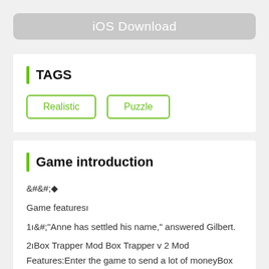[Figure (screenshot): iOS Download button (grey rounded rectangle)]
TAGS
Realistic
Puzzle
Game introduction
&#;
Game featuresı
1ı&#;"Anne has settled his name," answered Gilbert.
2ıBox Trapper Mod Box Trapper v 2 Mod Features:Enter the game to send a lot of moneyBox Trapper is simple endless 2d platformer shooter game where you destroy box characters to survive for as long as possible. Features: * Endless game